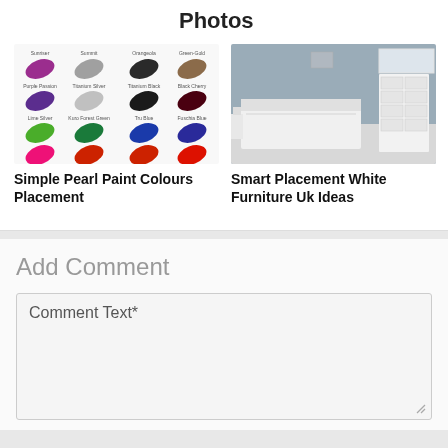Photos
[Figure (photo): Paint colour swatches showing various pearl paint colours including purple, titanium, black, green, blue shades]
Simple Pearl Paint Colours Placement
[Figure (photo): White bedroom furniture with bed, dresser and mirror in a modern bedroom setting]
Smart Placement White Furniture Uk Ideas
Add Comment
Comment Text*